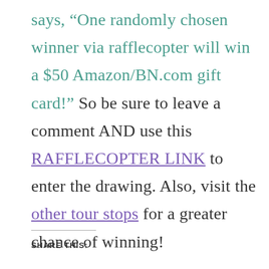says, “One randomly chosen winner via rafflecopter will win a $50 Amazon/BN.com gift card!” So be sure to leave a comment AND use this RAFFLECOPTER LINK to enter the drawing. Also, visit the other tour stops for a greater chance of winning!
SHARE THIS: